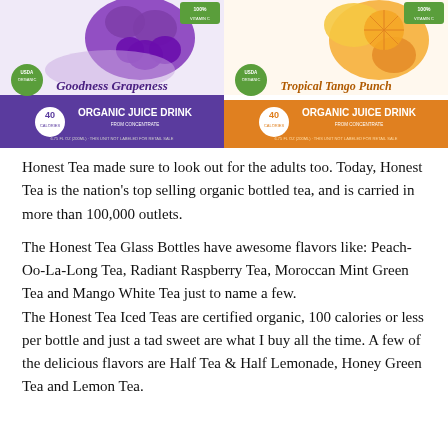[Figure (photo): Two Honest Tea organic juice drink pouches side by side. Left pouch is purple/grape themed labeled 'Goodness Grapeness' ORGANIC JUICE DRINK, 40 calories, 6.75 FL OZ (200ml). Right pouch is orange themed labeled 'Tropical Tango Punch' ORGANIC JUICE DRINK, 40 calories, 6.75 FL OZ (200ml). Both carry USDA Organic seal.]
Honest Tea made sure to look out for the adults too. Today, Honest Tea is the nation's top selling organic bottled tea, and is carried in more than 100,000 outlets.
The Honest Tea Glass Bottles have awesome flavors like: Peach-Oo-La-Long Tea, Radiant Raspberry Tea, Moroccan Mint Green Tea and Mango White Tea just to name a few.
The Honest Tea Iced Teas are certified organic, 100 calories or less per bottle and just a tad sweet are what I buy all the time. A few of the delicious flavors are Half Tea & Half Lemonade, Honey Green Tea and Lemon Tea.